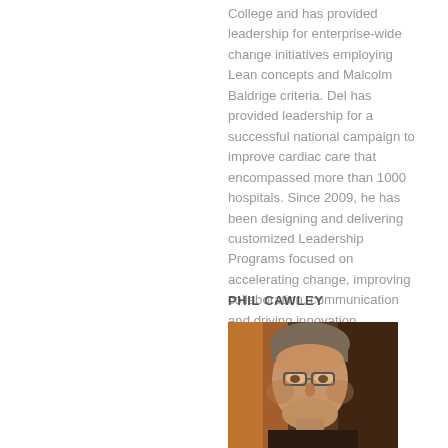College and has provided leadership for enterprise-wide change initiatives employing Lean concepts and Malcolm Baldrige criteria. Del has provided leadership for a successful national campaign to improve cardiac care that encompassed more than 1000 hospitals. Since 2009, he has been designing and delivering customized Leadership Programs focused on accelerating change, improving collaboration, communication and driving innovation.
PHIL CAWLEY
[Figure (photo): Headshot of Phil Cawley, a middle-aged man with grey hair and glasses, seated indoors with a warm dark background.]